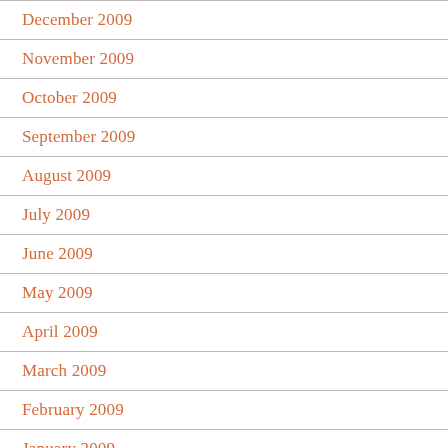December 2009
November 2009
October 2009
September 2009
August 2009
July 2009
June 2009
May 2009
April 2009
March 2009
February 2009
January 2009